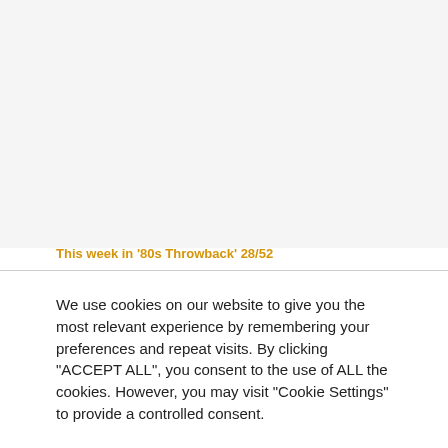[Figure (other): Faded/blurred background content area at top of page (website screenshot with blurred article image)]
This week in '80s Throwback' 28/52
We use cookies on our website to give you the most relevant experience by remembering your preferences and repeat visits. By clicking "ACCEPT ALL", you consent to the use of ALL the cookies. However, you may visit "Cookie Settings" to provide a controlled consent.
Cookie Settings   REJECT ALL   ACCEPT ALL